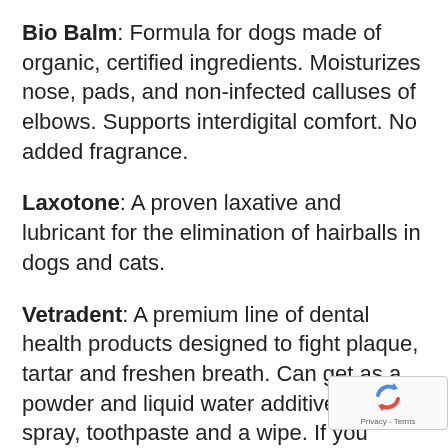Bio Balm: Formula for dogs made of organic, certified ingredients. Moisturizes nose, pads, and non-infected calluses of elbows. Supports interdigital comfort. No added fragrance.
Laxotone: A proven laxative and lubricant for the elimination of hairballs in dogs and cats.
Vetradent: A premium line of dental health products designed to fight plaque, tartar and freshen breath. Can get as a powder and liquid water additive, oral spray, toothpaste and a wipe. If you would like to see a video about dental hygiene please click here. The active
[Figure (other): reCAPTCHA logo overlay with Privacy - Terms text in bottom right corner]